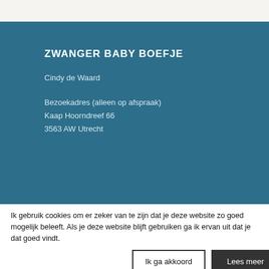ZWANGER BABY BOEFJE
Cindy de Waard
Bezoekadres (alleen op afspraak)
Kaap Hoorndreef 66
3563 AW Utrecht
BEDRIJFSGEGEVENS
KvK-nummer: 69014788
BTW-nummer: N
VBAG-nummer:
Ik gebruik cookies om er zeker van te zijn dat je deze website zo goed mogelijk beleeft. Als je deze website blijft gebruiken ga ik ervan uit dat je dat goed vindt.
Ik ga akkoord
Lees meer